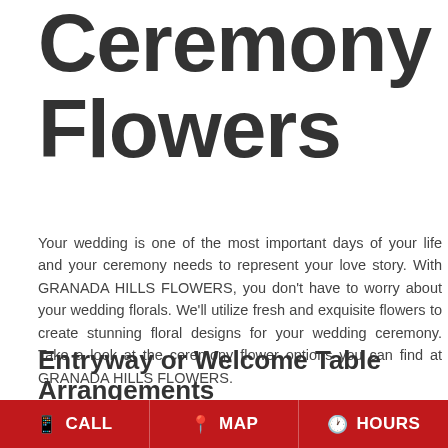Ceremony Flowers
Your wedding is one of the most important days of your life and your ceremony needs to represent your love story. With GRANADA HILLS FLOWERS, you don't have to worry about your wedding florals. We'll utilize fresh and exquisite flowers to create stunning floral designs for your wedding ceremony. Take a look at the ceremony flower options you can find at GRANADA HILLS FLOWERS.
Entryway or Welcome Table Arrangements
Welcome your guests with a beautifully designed
CALL   MAP   HOURS